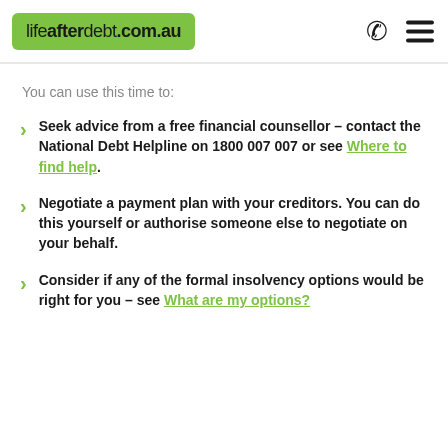lifeafterdebt.com.au
You can use this time to:
Seek advice from a free financial counsellor – contact the National Debt Helpline on 1800 007 007 or see Where to find help.
Negotiate a payment plan with your creditors. You can do this yourself or authorise someone else to negotiate on your behalf.
Consider if any of the formal insolvency options would be right for you – see What are my options?